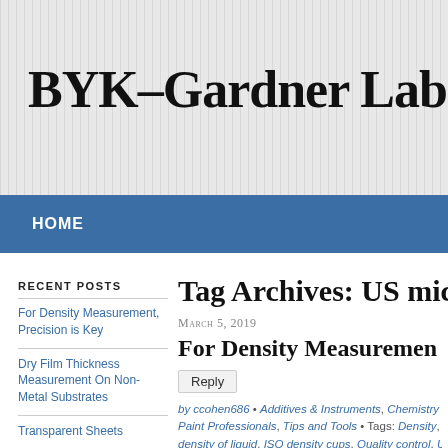BYK-GARDNER LABORATORIE
HOME
RECENT POSTS
For Density Measurement, Precision is Key
Dry Film Thickness Measurement On Non-Metal Substrates
Transparent Sheets
NEW BYK-Gardner Digital Catalog 2016
Tag Archives: US mic
March 5, 2019
For Density Measuremen
Reply
by ccohen686 • Additives & Instruments, Chemistry Corner, Paint Professionals, Tips and Tools • Tags: Density, density, density of liquid, ISO density cups, Quality control, US mid
Density is a measure of the mass to volume or wei